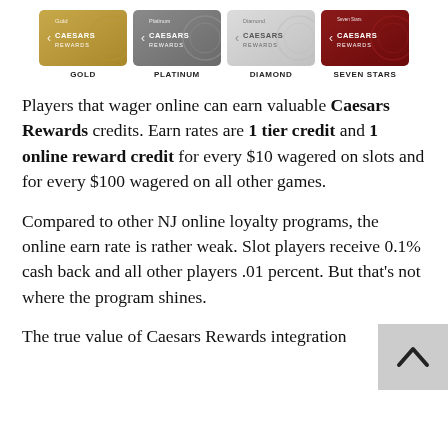[Figure (illustration): Four Caesars Rewards loyalty card tiers shown side by side: Gold (golden background), Platinum (silver/grey background), Diamond (light grey/white background), Seven Stars (dark red background). Each card shows the Caesars Rewards logo.]
Players that wager online can earn valuable Caesars Rewards credits. Earn rates are 1 tier credit and 1 online reward credit for every $10 wagered on slots and for every $100 wagered on all other games.
Compared to other NJ online loyalty programs, the online earn rate is rather weak. Slot players receive 0.1% cash back and all other players .01 percent. But that’s not where the program shines.
The true value of Caesars Rewards integration